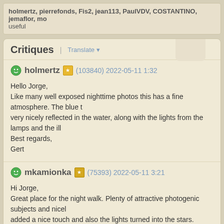holmertz, pierrefonds, Fis2, jean113, PaulVDV, COSTANTINO, jemaflor, mo... useful
Critiques | Translate
holmertz (103840) 2022-05-11 1:32
Hello Jorge,
Like many well exposed nighttime photos this has a fine atmosphere. The blue t... very nicely reflected in the water, along with the lights from the lamps and the ill...
Best regards,
Gert
mkamionka (75393) 2022-05-11 3:21
Hi Jorge,
Great place for the night walk. Plenty of attractive photogenic subjects and nicel... added a nice touch and also the lights turned into the stars.
Very well done,
M